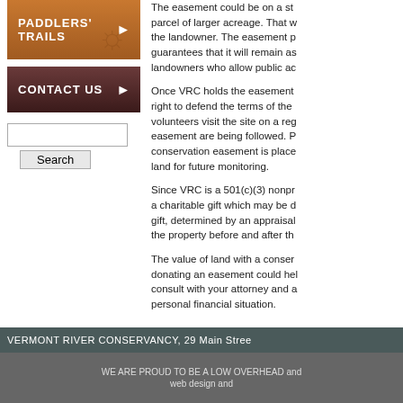[Figure (screenshot): Paddlers' Trails navigation button with brown gradient background and arrow]
[Figure (screenshot): Contact Us navigation button with dark brown gradient background and arrow]
[Figure (screenshot): Search text input box and Search button]
The easement could be on a str parcel of larger acreage. That w the landowner. The easement p guarantees that it will remain as landowners who allow public acc
Once VRC holds the easement right to defend the terms of the e volunteers visit the site on a reg easement are being followed. P conservation easement is place land for future monitoring.
Since VRC is a 501(c)(3) nonpr a charitable gift which may be d gift, determined by an appraisal, the property before and after th
The value of land with a conser donating an easement could hel consult with your attorney and a personal financial situation.
VERMONT RIVER CONSERVANCY, 29 Main Stree
WE ARE PROUD TO BE A LOW OVERHEAD and web design and